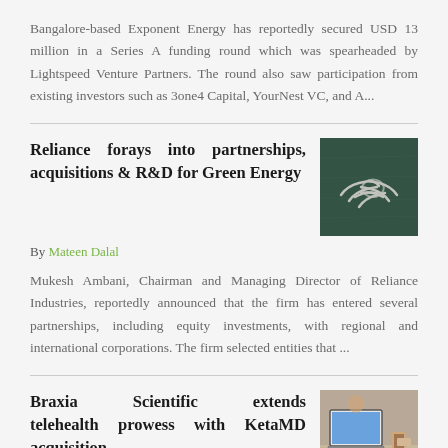Bangalore-based Exponent Energy has reportedly secured USD 13 million in a Series A funding round which was spearheaded by Lightspeed Venture Partners. The round also saw participation from existing investors such as 3one4 Capital, YourNest VC, and A...
Reliance forays into partnerships, acquisitions & R&D for Green Energy
[Figure (photo): Chalk drawing of two hands shaking on a dark chalkboard background]
By Mateen Dalal
Mukesh Ambani, Chairman and Managing Director of Reliance Industries, reportedly announced that the firm has entered several partnerships, including equity investments, with regional and international corporations. The firm selected entities that ...
Braxia Scientific extends telehealth prowess with KetaMD acquisition
[Figure (photo): Person working at a desk with a laptop and various items]